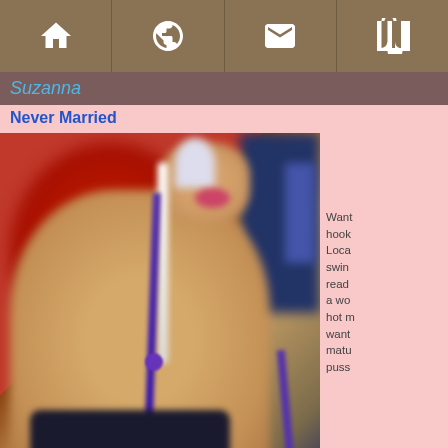Home | Globe | Mail | Book
Suzanna
Never Married
[Figure (photo): Blurry webcam-style photo of a woman wearing a purple bikini top and headphones against a red background]
Want hook Loca swin read a wo hot m want matu puss